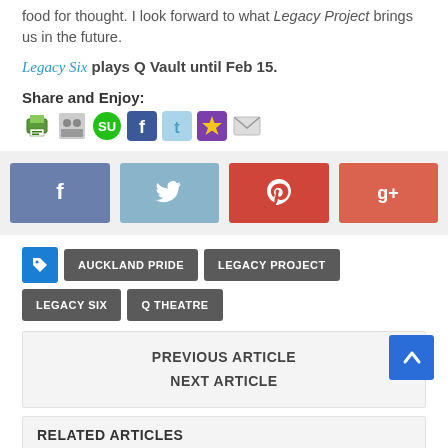food for thought. I look forward to what Legacy Project brings us in the future.
Legacy Six plays Q Vault until Feb 15.
Share and Enjoy:
[Figure (infographic): Row of small social sharing icon images: print, bookmark, StumbleUpon, Facebook, Twitter, Mister Wong, email]
[Figure (infographic): Row of four large social share buttons: Facebook (blue), Twitter (light blue), Pinterest (red), Google+ (coral red)]
[Figure (infographic): Tag buttons row: blue tag icon, AUCKLAND PRIDE, LEGACY PROJECT, LEGACY SIX, Q THEATRE]
PREVIOUS ARTICLE
NEXT ARTICLE
RELATED ARTICLES